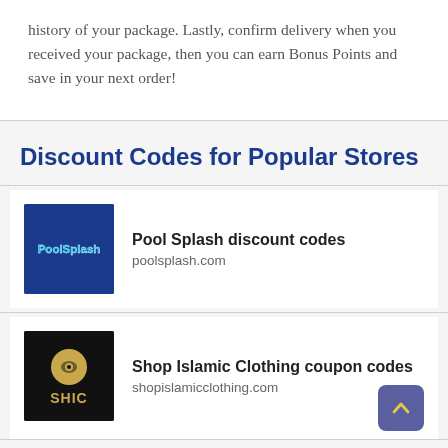history of your package. Lastly, confirm delivery when you received your package, then you can earn Bonus Points and save in your next order!
Discount Codes for Popular Stores
[Figure (logo): Pool Splash logo — dark blue background with 'PoolSplash' text in cyan/white]
Pool Splash discount codes
poolsplash.com
[Figure (logo): Shop Islamic Clothing (SHIC) logo — black background with gold coin icon and SHIC text]
Shop Islamic Clothing coupon codes
shopislamicclothing.com